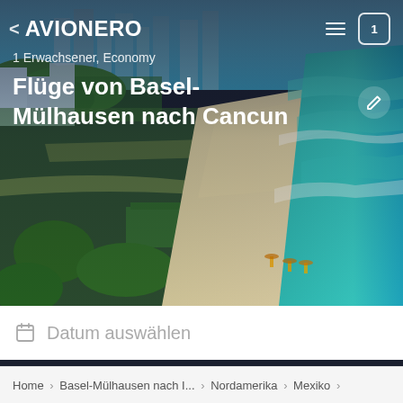[Figure (photo): Aerial photo of Cancún beach resort area showing turquoise Caribbean sea, white sandy beach, and hotel strip with green vegetation and buildings]
< AVIONERO  ≡  [1]
1 Erwachsener, Economy
Flüge von Basel-Mülhausen nach Cancun
Datum auswählen
Home > Basel-Mülhausen nach I... > Nordamerika > Mexiko >